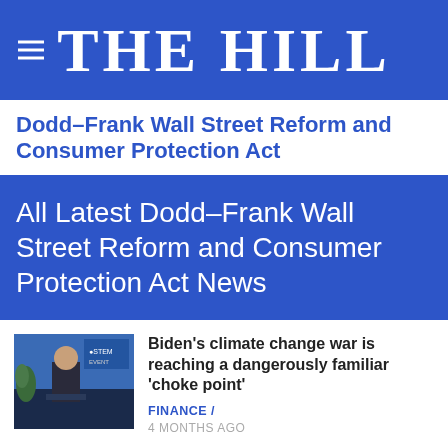THE HILL
Dodd–Frank Wall Street Reform and Consumer Protection Act
All Latest Dodd–Frank Wall Street Reform and Consumer Protection Act News
[Figure (photo): Photo of a person at a podium with a blue background and event branding]
Biden's climate change war is reaching a dangerously familiar 'choke point'
FINANCE /
4 MONTHS AGO